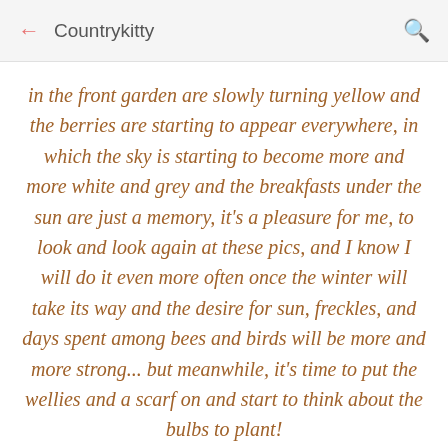← Countrykitty 🔍
in the front garden are slowly turning yellow and the berries are starting to appear everywhere, in which the sky is starting to become more and more white and grey and the breakfasts under the sun are just a memory, it's a pleasure for me, to look and look again at these pics, and I know I will do it even more often once the winter will take its way and the desire for sun, freckles, and days spent among bees and birds will be more and more strong... but meanwhile, it's time to put the wellies and a scarf on and start to think about the bulbs to plant!